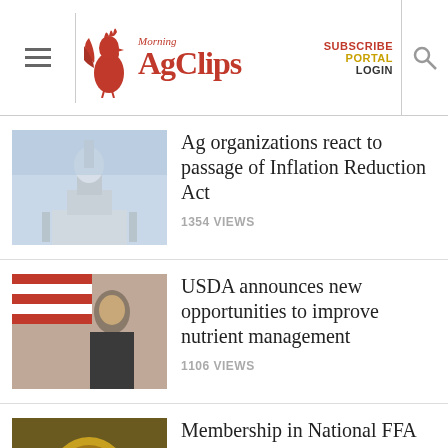Morning AgClips — SUBSCRIBE PORTAL LOGIN
Ag organizations react to passage of Inflation Reduction Act
1354 VIEWS
USDA announces new opportunities to improve nutrient management
1106 VIEWS
Membership in National FFA Organization reaches all-time high
1011 VIEWS
YOU MIGHT ALSO LIKE...